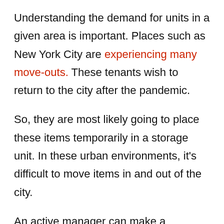Understanding the demand for units in a given area is important. Places such as New York City are experiencing many move-outs. These tenants wish to return to the city after the pandemic.
So, they are most likely going to place these items temporarily in a storage unit. In these urban environments, it's difficult to move items in and out of the city.
An active manager can make a difference when it comes to building a storage unit investment. They will commit to marketing to Real Estate companies